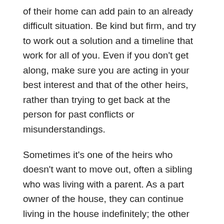of their home can add pain to an already difficult situation. Be kind but firm, and try to work out a solution and a timeline that work for all of you. Even if you don't get along, make sure you are acting in your best interest and that of the other heirs, rather than trying to get back at the person for past conflicts or misunderstandings.
Sometimes it's one of the heirs who doesn't want to move out, often a sibling who was living with a parent. As a part owner of the house, they can continue living in the house indefinitely; the other heirs have an equal right to move in, but they cannot force any of the others to move out.
Generally, what happens in this case is that the